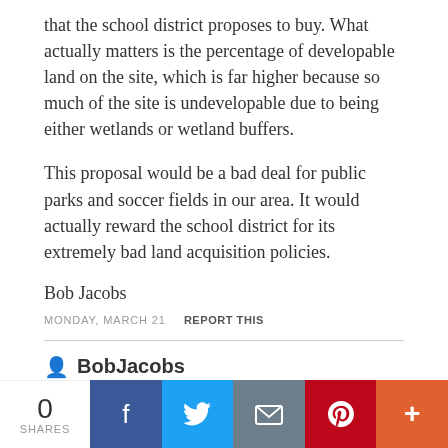that the school district proposes to buy. What actually matters is the percentage of developable land on the site, which is far higher because so much of the site is undevelopable due to being either wetlands or wetland buffers.
This proposal would be a bad deal for public parks and soccer fields in our area. It would actually reward the school district for its extremely bad land acquisition policies.
Bob Jacobs
MONDAY, MARCH 21   REPORT THIS
BobJacobs
0 SHARES